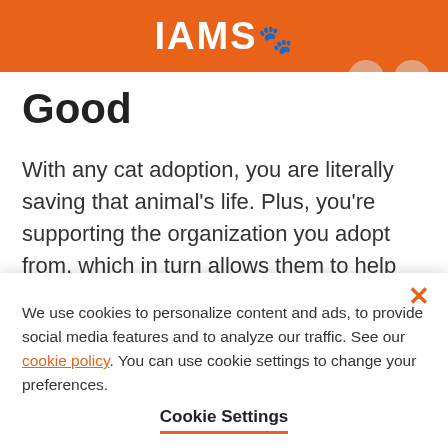IAMS
Good
With any cat adoption, you are literally saving that animal’s life. Plus, you’re supporting the organization you adopt from, which in turn allows them to help more animals in need, so you’re basically a hero. And all these good feelings happen before you even bring your new kitty
We use cookies to personalize content and ads, to provide social media features and to analyze our traffic. See our cookie policy. You can use cookie settings to change your preferences.
Cookie Settings